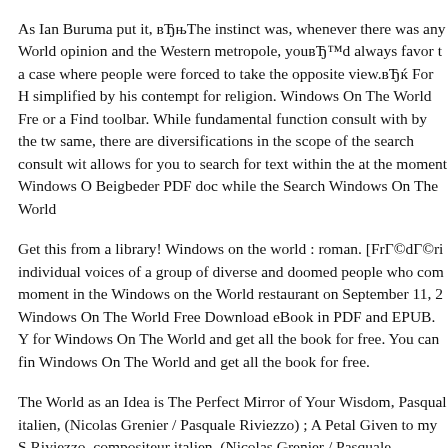As Ian Buruma put it, вЂњThe instinct was, whenever there was any World opinion and the Western metropole, youвЂ™d always favor the a case where people were forced to take the opposite view.вЂќ For H simplified by his contempt for religion. Windows On The World Fre or a Find toolbar. While fundamental function consult with by the tw same, there are diversifications in the scope of the search consult wit allows for you to search for text within the at the moment Windows O Beigbeder PDF doc while the Search Windows On The World
Get this from a library! Windows on the world : roman. [FrГ©dГ©ri individual voices of a group of diverse and doomed people who com moment in the Windows on the World restaurant on September 11, 2 Windows On The World Free Download eBook in PDF and EPUB. Y for Windows On The World and get all the book for free. You can fin Windows On The World and get all the book for free.
The World as an Idea is The Perfect Mirror of Your Wisdom, Pasqual italien, (Nicolas Grenier / Pasquale Riviezzo) ; A Petal Given to my S Riviezzo, compositeur italien, (Nicolas Grenier / Pasquale Riviezzo)